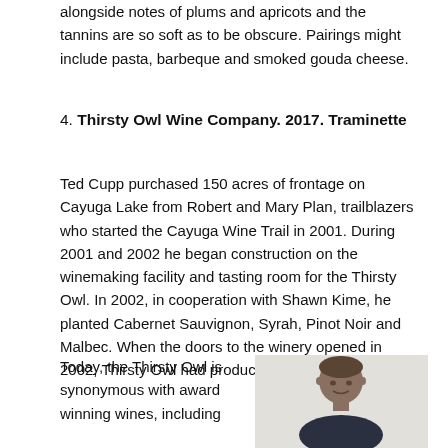alongside notes of plums and apricots and the tannins are so soft as to be obscure. Pairings might include pasta, barbeque and smoked gouda cheese.
4. Thirsty Owl Wine Company. 2017. Traminette
Ted Cupp purchased 150 acres of frontage on Cayuga Lake from Robert and Mary Plan, trailblazers who started the Cayuga Wine Trail in 2001. During 2001 and 2002 he began construction on the winemaking facility and tasting room for the Thirsty Owl. In 2002, in cooperation with Shawn Kime, he planted Cabernet Sauvignon, Syrah, Pinot Noir and Malbec. When the doors to the winery opened in 2002, Thirsty Owl had produced 1200 cases.
Today, the Thirsty Owl is synonymous with award winning wines, including
[Figure (photo): Portrait photo of a man in a dark shirt, smiling, with a light background]